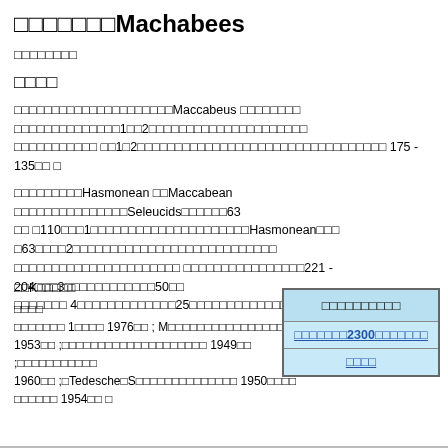□□□□□□□Machabees
□□□□□□□□
□□□□
□□□□□□□□□□□□□□□□□□□□□Maccabeus □□□□□□□□ □□□□□□□□□□□□□□1□□2□□□□□□□□□□□□□□□□□□□□□ □□1□2□□□□□□□□□□□□□□□□□□□□□□□□□□□ 175 - 135□□ □
□□□□□□□□□Hasmonean □□Maccabean □□□□□□□□□□□□□□□Seleucids□□□□□□63□□ □110□□□1□□□□□□□□□□□□□□□□□□□□□Hasmonean□□□ □63□□□□2□□□□□□□□□□□□□□□□□□□□□□□□□□□ □□□□□□□□□□□□□□□□□□□□□□221 - 204□□□3□□□□□□□□□□□□50□□□□□□□□ 4□□□□□□□□□□□□□25□□□□□□□□□□□□□□□□□□□□□□
□□K□□□□□
□□□□
□□□□□□□ 1□□□□ 1976□□ ; M□□□□□□□□□□□□□□□□□□ 1953□□ ;□□□□□□□□□□□□□□□□□□□□ 1949□□ ;□□□□□□□□□□□ 1960□□ ;□Tedesche□S□□□□□□□□□□□□□□ 1950□□□□ □□□□□□ 1954□□ □
| □□□□□□□□□□ |
| □□□□□□□2300□□□□□□□ |
| □□□□ |